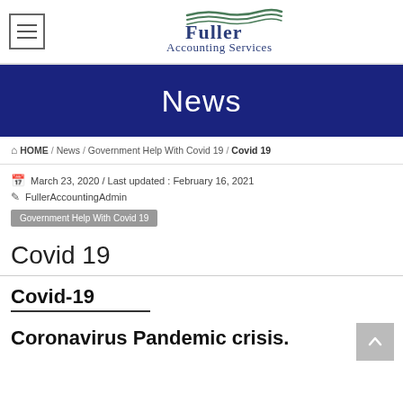Fuller Accounting Services
News
HOME / News / Government Help With Covid 19 / Covid 19
March 23, 2020 / Last updated : February 16, 2021
FullerAccountingAdmin
Government Help With Covid 19
Covid 19
Covid-19
Coronavirus Pandemic crisis.